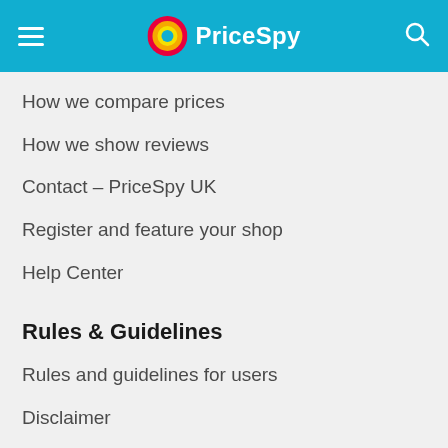PriceSpy
How we compare prices
How we show reviews
Contact – PriceSpy UK
Register and feature your shop
Help Center
Rules & Guidelines
Rules and guidelines for users
Disclaimer
Privacy policy
Cookie policy
Privacy settings